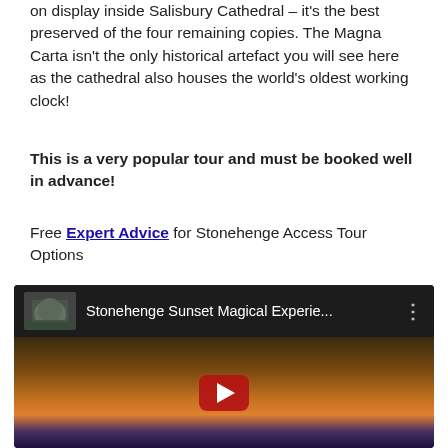on display inside Salisbury Cathedral – it's the best preserved of the four remaining copies. The Magna Carta isn't the only historical artefact you will see here as the cathedral also houses the world's oldest working clock!
This is a very popular tour and must be booked well in advance!
Free Expert Advice for Stonehenge Access Tour Options
We can also arrange extra dates for private groups, ideal for couples, families and small groups
[Figure (screenshot): YouTube video thumbnail showing 'Stonehenge Sunset Magical Experie...' with a dark top bar containing a Stonehenge thumbnail icon, video title, and three-dot menu, and below a sunset landscape image with a red play button in the center.]